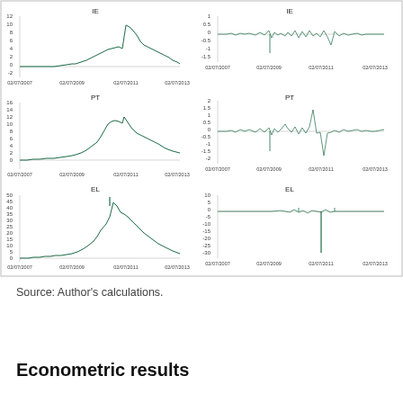[Figure (continuous-plot): Six time-series charts (3 rows x 2 columns) showing financial data for IE, PT, and EL from 02/07/2007 to 02/07/2013. Left column shows level series (IE: 0-12, PT: 0-16, EL: 0-50). Right column shows difference/return series (IE: -1.5 to 1, PT: -2 to 2, EL: -30 to 10). All series are plotted as dark green line charts with a characteristic spike around 02/07/2011.]
Source: Author's calculations.
Econometric results